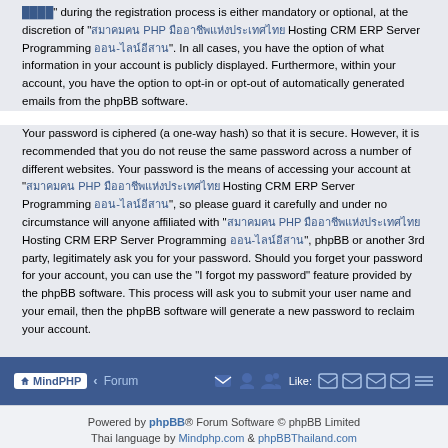"████" during the registration process is either mandatory or optional, at the discretion of "สมาคมคน PHP มืออาชีพแห่งประเทศไทย Hosting CRM ERP Server Programming ออน-ไลน์อีสาน". In all cases, you have the option of what information in your account is publicly displayed. Furthermore, within your account, you have the option to opt-in or opt-out of automatically generated emails from the phpBB software.
Your password is ciphered (a one-way hash) so that it is secure. However, it is recommended that you do not reuse the same password across a number of different websites. Your password is the means of accessing your account at "สมาคมคน PHP มืออาชีพแห่งประเทศไทย Hosting CRM ERP Server Programming ออน-ไลน์อีสาน", so please guard it carefully and under no circumstance will anyone affiliated with "สมาคมคน PHP มืออาชีพแห่งประเทศไทย Hosting CRM ERP Server Programming ออน-ไลน์อีสาน", phpBB or another 3rd party, legitimately ask you for your password. Should you forget your password for your account, you can use the "I forgot my password" feature provided by the phpBB software. This process will ask you to submit your user name and your email, then the phpBB software will generate a new password to reclaim your account.
MindPHP · Forum | (icons) | Like: (social icons)
Powered by phpBB® Forum Software © phpBB Limited
Thai language by Mindphp.com & phpBBThailand.com
Privacy | Terms
Time: 0.053s | Peak Memory Usage: 1.71 MiB | GZIP: Off | Load: 6.18